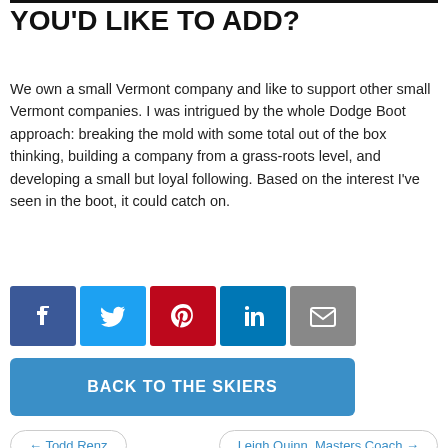YOU'D LIKE TO ADD?
We own a small Vermont company and like to support other small Vermont companies. I was intrigued by the whole Dodge Boot approach: breaking the mold with some total out of the box thinking, building a company from a grass-roots level, and developing a small but loyal following. Based on the interest I've seen in the boot, it could catch on.
[Figure (infographic): Social sharing icons row: Facebook (blue), Twitter (light blue), Pinterest (red), LinkedIn (dark blue), Email (grey)]
BACK TO THE SKIERS
← Todd Renz
Leigh Quinn, Masters Coach →
INFORMATION
Home
About Us